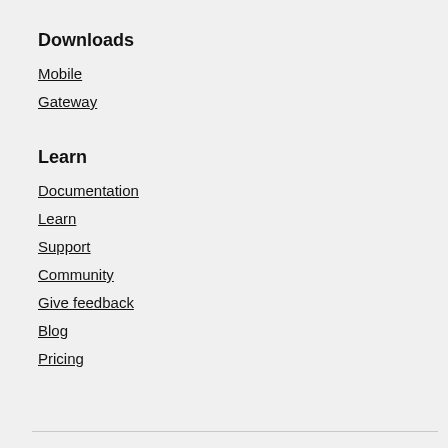Downloads
Mobile
Gateway
Learn
Documentation
Learn
Support
Community
Give feedback
Blog
Pricing